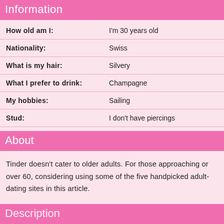Information
| Field | Value |
| --- | --- |
| How old am I: | I'm 30 years old |
| Nationality: | Swiss |
| What is my hair: | Silvery |
| What I prefer to drink: | Champagne |
| My hobbies: | Sailing |
| Stud: | I don't have piercings |
About
Tinder doesn't cater to older adults. For those approaching or over 60, considering using some of the five handpicked adult-dating sites in this article.
Description